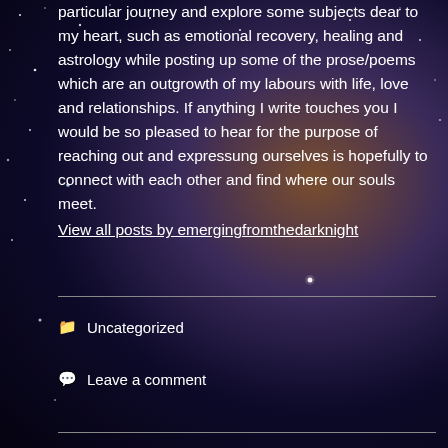[Figure (photo): Dark cosmic/space background with stars, nebula, and a silhouette of a woman sitting on a bed with a large moon behind her]
particular journey and explore some subjects dear to my heart, such as emotional recovery, healing and astrology while posting up some of the prose/poems which are an outgrowth of my labours with life, love and relationships. If anything I write touches you I would be so pleased to hear for the purpose of reaching out and expressung ourselves is hopefully to connect with each other and find where our souls meet.
View all posts by emergingfromthedarknight
Uncategorized
Leave a comment